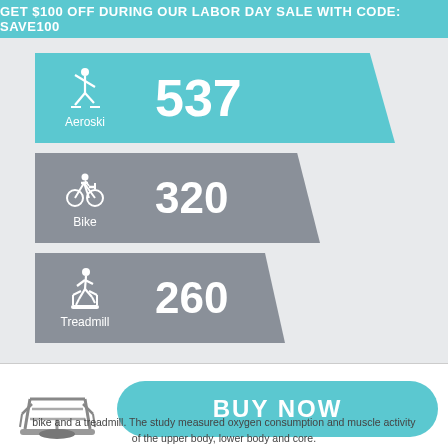GET $100 OFF DURING OUR LABOR DAY SALE WITH CODE: SAVE100
[Figure (infographic): Horizontal bar chart infographic showing calorie burn comparison. Aeroski: 537, Bike: 320, Treadmill: 260. Each bar has an icon and label on the left and a large number value. Aeroski bar is teal/cyan, Bike and Treadmill bars are gray. Below is a product image of the Aeroski machine and a BUY NOW button.]
bike and a treadmill. The study measured oxygen consumption and muscle activity of the upper body, lower body and core.